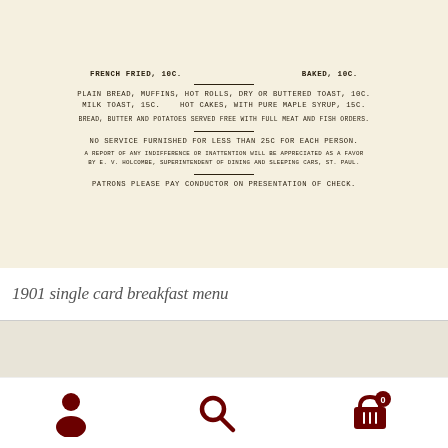[Figure (photo): Scan of a 1901 single card breakfast menu from the Great Northern Railway dining car, showing menu items in uppercase typewriter font including French Fried, Baked potatoes, Plain Bread, Muffins, Hot Rolls, Dry or Buttered Toast, Milk Toast, Hot Cakes with Pure Maple Syrup, and policy notices about service charges and conductor payment.]
1901 single card breakfast menu
[Figure (photo): Scan of the back of a Great Northern Railway menu card showing the railroad's logo text 'GREAT NORTHERN RAILWAY' in bold italic dark blue letters on aged cream/off-white card stock.]
[Figure (other): Website navigation bar with three icons: person/user icon, search magnifying glass icon, and shopping cart icon with badge showing '0'.]